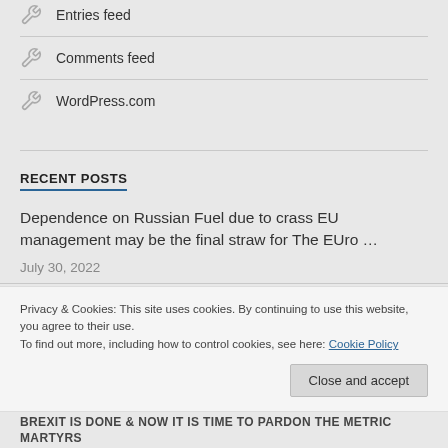Entries feed
Comments feed
WordPress.com
RECENT POSTS
Dependence on Russian Fuel due to crass EU management may be the final straw for The EUro …
July 30, 2022
Privacy & Cookies: This site uses cookies. By continuing to use this website, you agree to their use.
To find out more, including how to control cookies, see here: Cookie Policy
Brexit is Done & Now it is Time to Pardon The Metric Martyrs